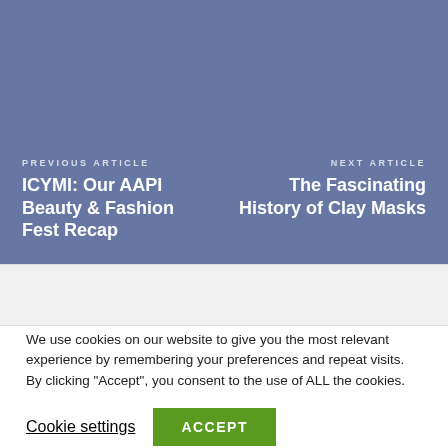PREVIOUS ARTICLE
ICYMI: Our AAPI Beauty & Fashion Fest Recap
NEXT ARTICLE
The Fascinating History of Clay Masks
We use cookies on our website to give you the most relevant experience by remembering your preferences and repeat visits. By clicking “Accept”, you consent to the use of ALL the cookies.
Cookie settings
ACCEPT